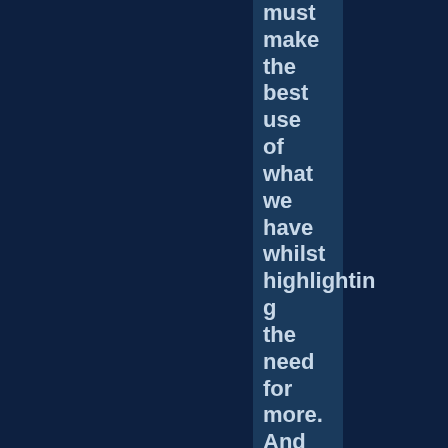must make the best use of what we have whilst highlighting the need for more. And of course, as always, the general ignorance